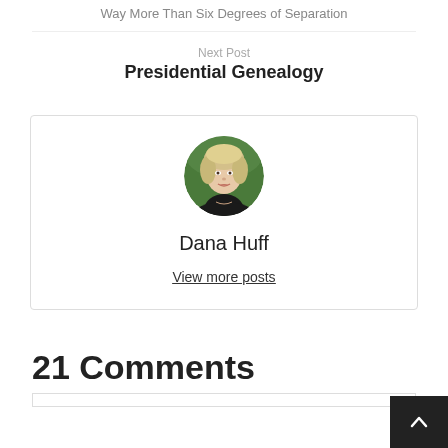Way More Than Six Degrees of Separation
Next Post
Presidential Genealogy
[Figure (photo): Circular portrait photo of Dana Huff, a woman with short blond hair wearing a black top, against a green background.]
Dana Huff
View more posts
21 Comments